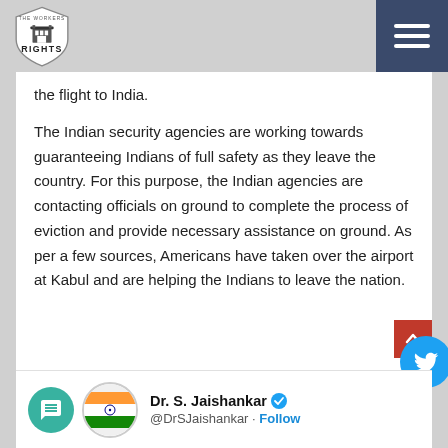THE WORKERS RIGHTS
the flight to India.
The Indian security agencies are working towards guaranteeing Indians of full safety as they leave the country. For this purpose, the Indian agencies are contacting officials on ground to complete the process of eviction and provide necessary assistance on ground. As per a few sources, Americans have taken over the airport at Kabul and are helping the Indians to leave the nation.
[Figure (screenshot): Twitter profile embed showing Dr. S. Jaishankar with verified checkmark and @DrSJaishankar handle with Follow link]